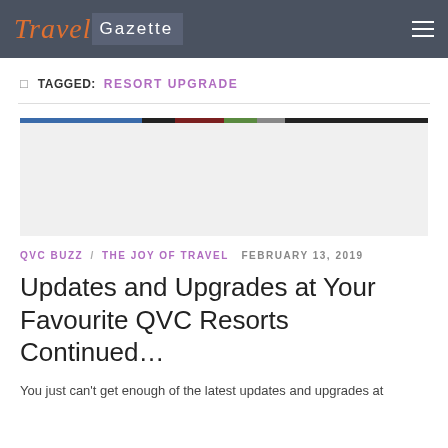Travel Gazette
TAGGED: RESORT UPGRADE
[Figure (photo): Thin colorful horizontal banner image, partially visible at top]
QVC BUZZ / THE JOY OF TRAVEL  FEBRUARY 13, 2019
Updates and Upgrades at Your Favourite QVC Resorts Continued…
You just can't get enough of the latest updates and upgrades at